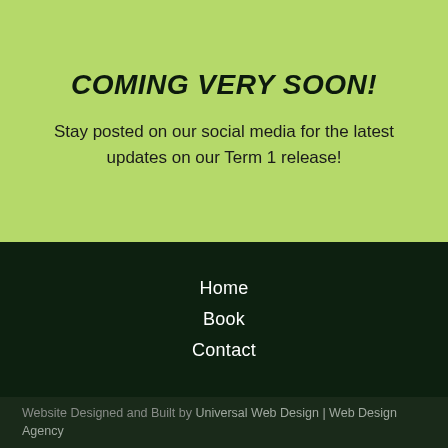COMING VERY SOON!
Stay posted on our social media for the latest updates on our Term 1 release!
Home
Book
Contact
Website Designed and Built by Universal Web Design | Web Design Agency